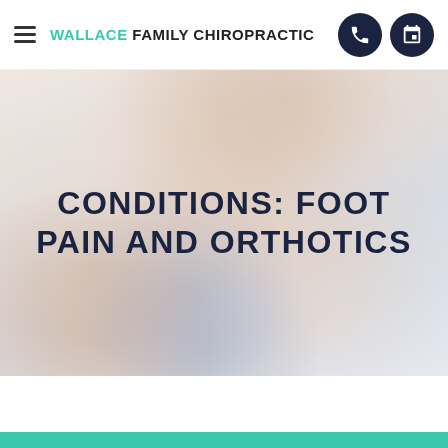WALLACE FAMILY CHIROPRACTIC
[Figure (photo): A person lying face down on a treatment table receiving chiropractic back adjustment from a practitioner, in a light clinical room setting.]
CONDITIONS: FOOT PAIN AND ORTHOTICS